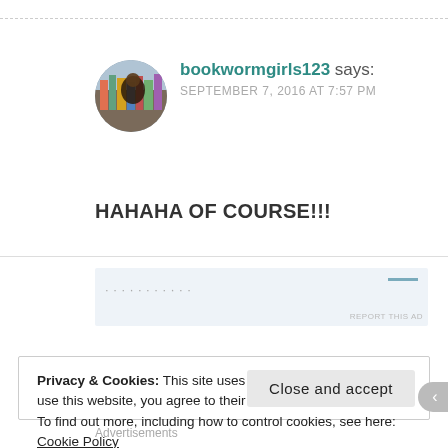[Figure (screenshot): User avatar photo showing a person browsing books, circular crop]
bookwormgirls123 says:
SEPTEMBER 7, 2016 AT 7:57 PM
HAHAHA OF COURSE!!!
[Figure (other): Advertisement banner with light blue background, partially visible ad text and REPORT THIS AD label]
Privacy & Cookies: This site uses cookies. By continuing to use this website, you agree to their use.
To find out more, including how to control cookies, see here: Cookie Policy
Close and accept
Advertisements